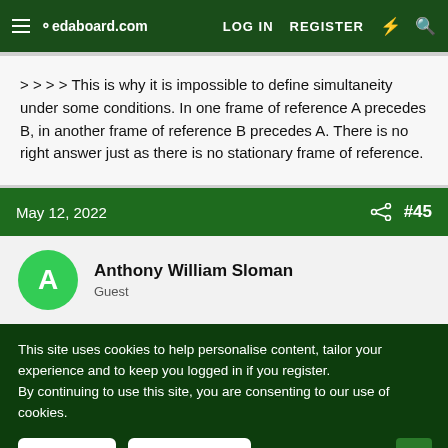oedaboard.com — LOG IN   REGISTER
> > > > This is why it is impossible to define simultaneity under some conditions. In one frame of reference A precedes B, in another frame of reference B precedes A. There is no right answer just as there is no stationary frame of reference.
May 12, 2022  #45
Anthony William Sloman
Guest
This site uses cookies to help personalise content, tailor your experience and to keep you logged in if you register.
By continuing to use this site, you are consenting to our use of cookies.